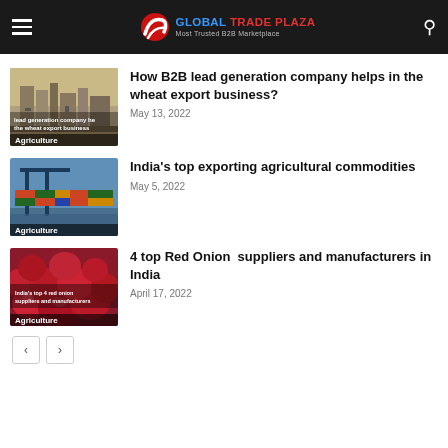GLOBAL TRADE PLAZA — Most Trusted B2B Marketplace
[Figure (photo): Industrial/agriculture facility with silos and cranes, labeled 'lead generation company helps the wheat export business']
How B2B lead generation company helps in the wheat export business?
May 13, 2022
[Figure (photo): Port with shipping containers and cranes, labeled 'India's top exporting agricultural commodities']
India's top exporting agricultural commodities
May 5, 2022
[Figure (photo): Red onions piled together, labeled 'India's top 4 red onion suppliers and manufacturers']
4 top Red Onion  suppliers and manufacturers in India
April 17, 2022